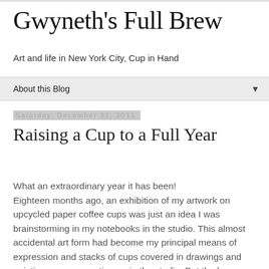Gwyneth's Full Brew
Art and life in New York City, Cup in Hand
About this Blog
Saturday, December 31, 2011
Raising a Cup to a Full Year
What an extraordinary year it has been!
Eighteen months ago, an exhibition of my artwork on upcycled paper coffee cups was just an idea I was brainstorming in my notebooks in the studio. This almost accidental art form had become my principal means of expression and stacks of cups covered in drawings and paintings were mounting up in the studio. But the how, where, when and why of an exhibit of drawings on coffee cups were all question marks.